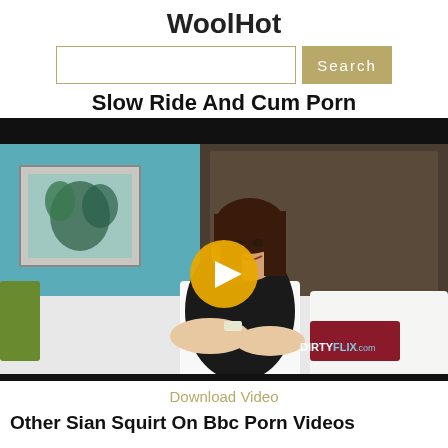WoolHot
Search
Slow Ride And Cum Porn
[Figure (screenshot): Video thumbnail showing a young woman sitting on a hotel bed in a black dress with a gold play button overlay. DIRTYFLIX.com watermark in bottom right.]
Download Video
Other Sian Squirt On Bbc Porn Videos